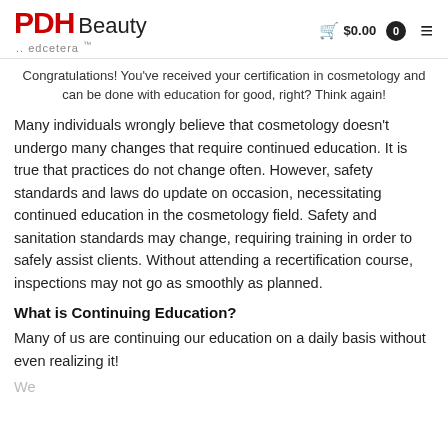PDH Beauty ..edcetera™ | $0.00
Congratulations! You've received your certification in cosmetology and can be done with education for good, right? Think again!
Many individuals wrongly believe that cosmetology doesn't undergo many changes that require continued education. It is true that practices do not change often. However, safety standards and laws do update on occasion, necessitating continued education in the cosmetology field. Safety and sanitation standards may change, requiring training in order to safely assist clients. Without attending a recertification course, inspections may not go as smoothly as planned.
What is Continuing Education?
Many of us are continuing our education on a daily basis without even realizing it!
We…